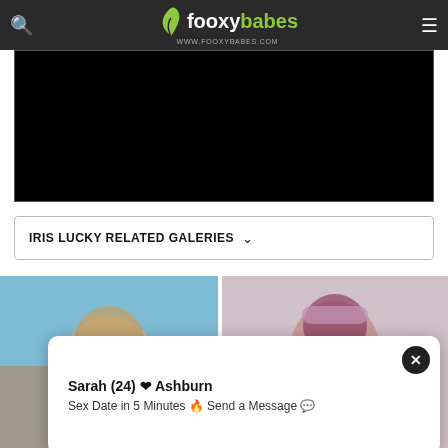fooxybabes WWW.FOOXYBABES.COM
[Figure (other): Black advertisement/content area]
IRIS LUCKY RELATED GALERIES
[Figure (photo): Gallery thumbnail left - blonde woman outdoors]
[Figure (photo): Gallery thumbnail right - brunette woman with pink headband]
Sarah (24) ❤ Ashburn
Sex Date in 5 Minutes 🔥 Send a Message 💬